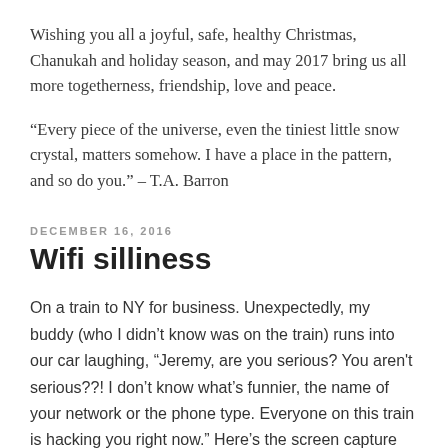Wishing you all a joyful, safe, healthy Christmas, Chanukah and holiday season, and may 2017 bring us all more togetherness, friendship, love and peace.
“Every piece of the universe, even the tiniest little snow crystal, matters somehow. I have a place in the pattern, and so do you.” – T.A. Barron
DECEMBER 16, 2016
Wifi silliness
On a train to NY for business. Unexpectedly, my buddy (who I didn’t know was on the train) runs into our car laughing, “Jeremy, are you serious? You aren't serious??! I don’t know what’s funnier, the name of your network or the phone type. Everyone on this train is hacking you right now.” Here’s the screen capture (and for the record,